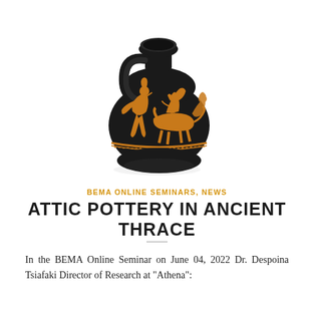[Figure (photo): Black-figure ancient Greek Attic pottery vessel (oinochoe/olpe) with orange-red figure decoration showing a warrior and a horseman/horse scene. The vessel has a round body, single handle, and narrow neck with wide mouth. Decorated with a frieze of terracotta/orange figures on black glaze background.]
BEMA ONLINE SEMINARS, NEWS
ATTIC POTTERY IN ANCIENT THRACE
In the BEMA Online Seminar on June 04, 2022 Dr. Despoina Tsiafaki Director of Research at "Athena":